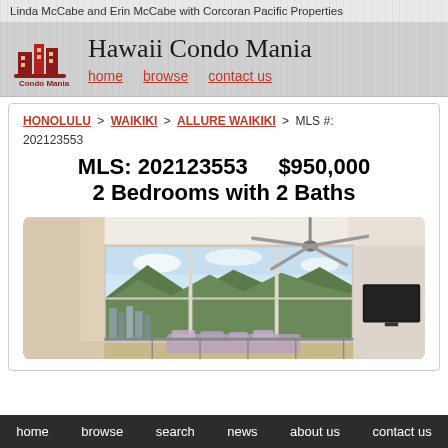Linda McCabe and Erin McCabe with Corcoran Pacific Properties
Hawaii Condo Mania
home   browse   contact us
HONOLULU > WAIKIKI > ALLURE WAIKIKI > MLS #: 202123553
MLS: 202123553    $950,000
2 Bedrooms with 2 Baths
[Figure (photo): Interior photo of a condo living room with ceiling fan, large sliding glass doors showing a mountain and city view, lamp on left side, and TV on right side.]
home   browse   search   news   about us   contact us